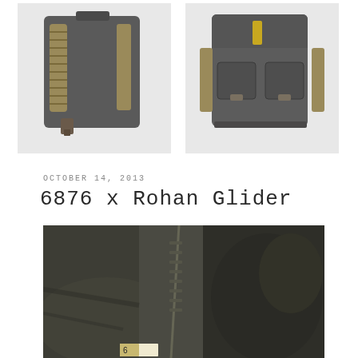[Figure (photo): Two photos of a dark grey canvas backpack with woven/braided straps and leather accents. Left photo shows the back of the bag with braided shoulder straps. Right photo shows the front of the bag with two front pockets, buckles, and a yellow tag.]
OCTOBER 14, 2013
6876 x Rohan Glider
[Figure (photo): Close-up photo of a dark olive/black jacket showing zipper detail and inner lining, with a small label visible at the bottom.]